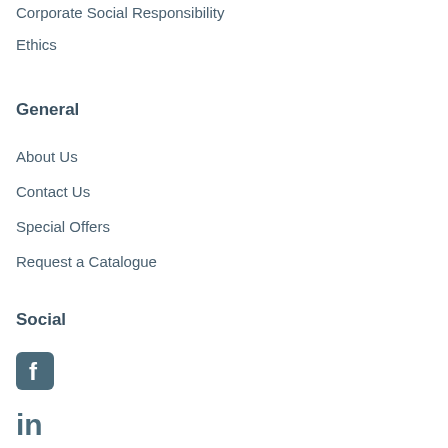Corporate Social Responsibility
Ethics
General
About Us
Contact Us
Special Offers
Request a Catalogue
Social
[Figure (logo): Facebook social media icon - rounded square with white 'f' letter]
[Figure (logo): LinkedIn social media icon - 'in' text logo]